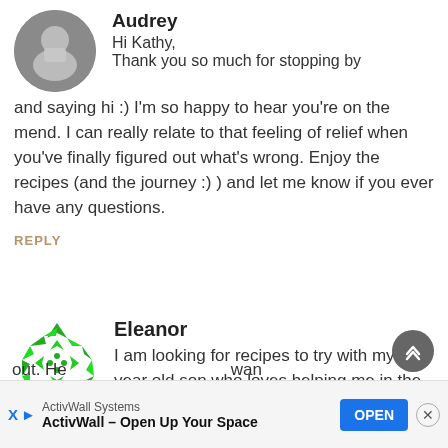[Figure (photo): Circular avatar photo of Audrey, a woman holding a cup]
Audrey
Hi Kathy,
Thank you so much for stopping by and saying hi :) I'm so happy to hear you're on the mend. I can really relate to that feeling of relief when you've finally figured out what's wrong. Enjoy the recipes (and the journey :) ) and let me know if you ever have any questions.
REPLY
[Figure (logo): Eleanor avatar: green geometric diamond/triangle pattern circle logo]
Eleanor
I am looking for recipes to try with my 8 year old son who loves helping me in the kitchen. He's been diagnosed with ADHD and the nutritionist recommended a paleo diet with sugar cut out. He wan to mak al suga
ActivWall Systems
ActivWall – Open Up Your Space
OPEN